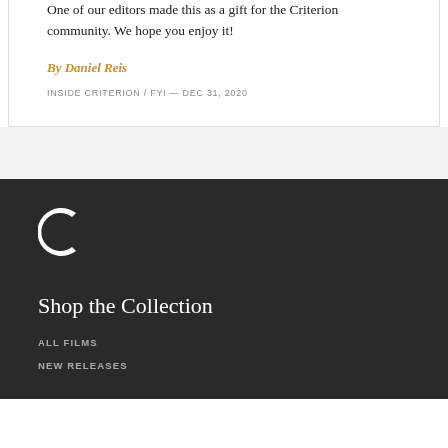One of our editors made this as a gift for the Criterion community. We hope you enjoy it!
By Daniel Reis
INSIDE CRITERION / FYI — DEC 31, 2020
[Figure (logo): Criterion Collection white 'C' logo on dark background]
Shop the Collection
ALL FILMS
NEW RELEASES